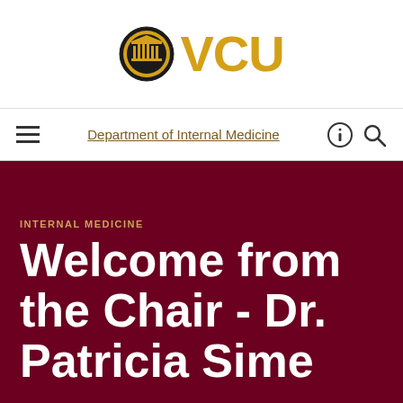[Figure (logo): VCU logo with circular seal icon and bold gold VCU text]
Department of Internal Medicine
INTERNAL MEDICINE
Welcome from the Chair - Dr. Patricia Sime